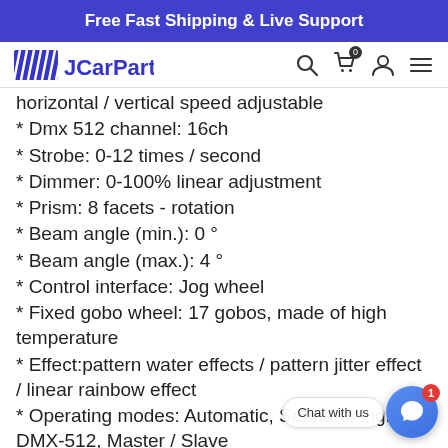Free Fast Shipping & Live Support
[Figure (logo): JCarPart logo with diagonal stripes and text]
horizontal / vertical speed adjustable
* Dmx 512 channel: 16ch
* Strobe: 0-12 times / second
* Dimmer: 0-100% linear adjustment
* Prism: 8 facets - rotation
* Beam angle (min.): 0 °
* Beam angle (max.): 4 °
* Control interface: Jog wheel
* Fixed gobo wheel: 17 gobos, made of high temperature
* Effect:pattern water effects / pattern jitter effect / linear rainbow effect
* Operating modes: Automatic, Sound to Light, DMX-512, Master / Slave
* Special functions: electronic focus, frost